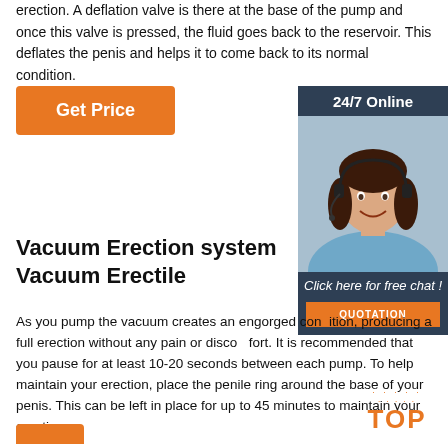erection. A deflation valve is there at the base of the pump and once this valve is pressed, the fluid goes back to the reservoir. This deflates the penis and helps it to come back to its normal condition.
[Figure (other): Orange 'Get Price' button]
[Figure (other): 24/7 Online chat widget with photo of woman wearing headset, 'Click here for free chat!' text and orange QUOTATION button]
Vacuum Erection system Vacuum Erectile
As you pump the vacuum creates an engorged condition, producing a full erection without any pain or discomfort. It is recommended that you pause for at least 10-20 seconds between each pump. To help maintain your erection, place the penile ring around the base of your penis. This can be left in place for up to 45 minutes to maintain your erection.
[Figure (other): Orange TOP badge with dotted ring]
[Figure (other): Orange button at bottom (partially visible)]